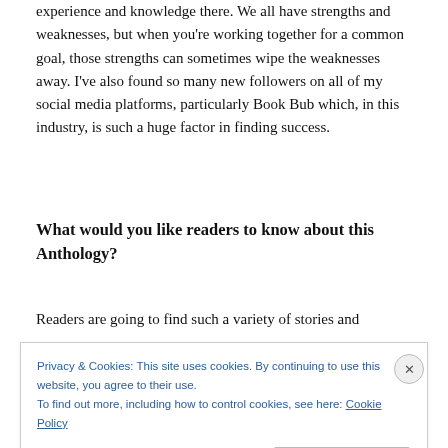experience and knowledge there. We all have strengths and weaknesses, but when you're working together for a common goal, those strengths can sometimes wipe the weaknesses away. I've also found so many new followers on all of my social media platforms, particularly Book Bub which, in this industry, is such a huge factor in finding success.
What would you like readers to know about this Anthology?
Readers are going to find such a variety of stories and
Privacy & Cookies: This site uses cookies. By continuing to use this website, you agree to their use.
To find out more, including how to control cookies, see here: Cookie Policy